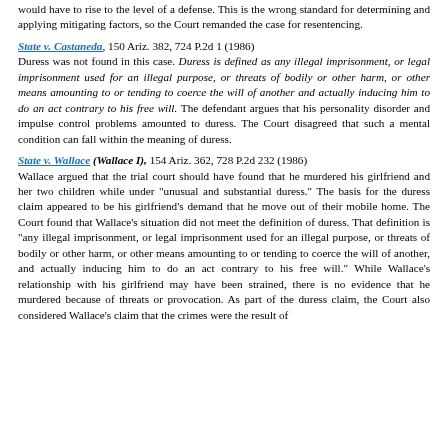would have to rise to the level of a defense. This is the wrong standard for determining and applying mitigating factors, so the Court remanded the case for resentencing.
State v. Castaneda, 150 Ariz. 382, 724 P.2d 1 (1986)
Duress was not found in this case. Duress is defined as any illegal imprisonment, or legal imprisonment used for an illegal purpose, or threats of bodily or other harm, or other means amounting to or tending to coerce the will of another and actually inducing him to do an act contrary to his free will. The defendant argues that his personality disorder and impulse control problems amounted to duress. The Court disagreed that such a mental condition can fall within the meaning of duress.
State v. Wallace (Wallace I), 154 Ariz. 362, 728 P.2d 232 (1986)
Wallace argued that the trial court should have found that he murdered his girlfriend and her two children while under "unusual and substantial duress." The basis for the duress claim appeared to be his girlfriend's demand that he move out of their mobile home. The Court found that Wallace's situation did not meet the definition of duress. That definition is "any illegal imprisonment, or legal imprisonment used for an illegal purpose, or threats of bodily or other harm, or other means amounting to or tending to coerce the will of another, and actually inducing him to do an act contrary to his free will." While Wallace's relationship with his girlfriend may have been strained, there is no evidence that he murdered because of threats or provocation. As part of the duress claim, the Court also considered Wallace's claim that the crimes were the result of